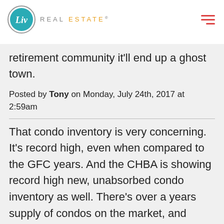Liv Real Estate
retirement community it'll end up a ghost town.
Posted by Tony on Monday, July 24th, 2017 at 2:59am
That condo inventory is very concerning. It's record high, even when compared to the GFC years. And the CHBA is showing record high new, unabsorbed condo inventory as well. There's over a years supply of condos on the market, and climbing. Doesn't bode well for condo valuations in general.